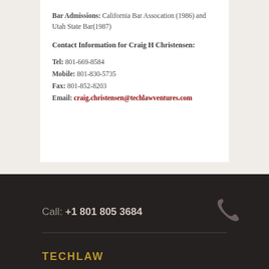Bar Admissions: California Bar Assocation (1986) and Utah State Bar(1987)
Contact Information for Craig H Christensen:
Tel: 801-669-8584
Mobile: 801-830-5735
Fax: 801-852-8203
Email: craig.christensen@techlawventures.com
Call: +1 801 805 3684
TECHLAW